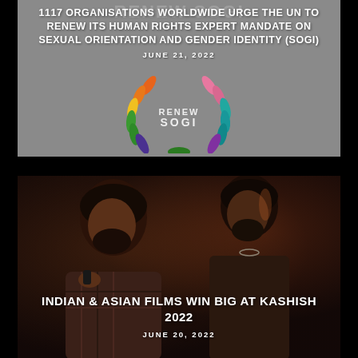[Figure (photo): Grey background with colorful SOGI (Sexual Orientation Gender Identity) renewal logo — a wreath of multi-colored leaves (orange, yellow, green, teal, pink, purple) around the text RENEW SOGI]
1117 ORGANISATIONS WORLDWIDE URGE THE UN TO RENEW ITS HUMAN RIGHTS EXPERT MANDATE ON SEXUAL ORIENTATION AND GENDER IDENTITY (SOGI)
JUNE 21, 2022
[Figure (photo): Dark moody photo of two South Asian men, one in foreground talking on a phone, one in background, dramatic lighting with warm tones]
INDIAN & ASIAN FILMS WIN BIG AT KASHISH 2022
JUNE 20, 2022